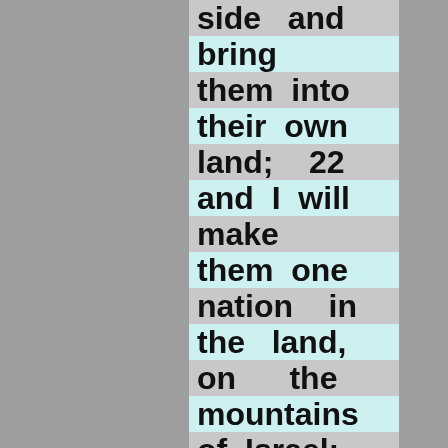side and bring them into their own land; 22 and I will make them one nation in the land, on the mountains of Israel; and one king shall be king over them all; they